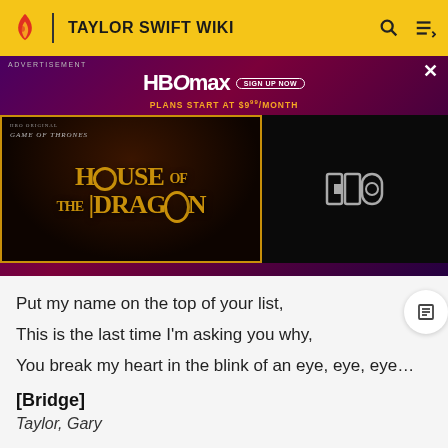TAYLOR SWIFT WIKI
[Figure (screenshot): HBO Max advertisement banner featuring House of the Dragon promotional image with golden dragon imagery on dark background. HBO max logo with 'SIGN UP NOW' button and 'PLANS START AT $9.99/MONTH' text. Left panel shows Game of Thrones: House of the Dragon title card with golden lettering. Right panel shows HBO logo on dark background.]
Put my name on the top of your list,
This is the last time I'm asking you why,
You break my heart in the blink of an eye, eye, eye…
[Bridge]
Taylor, Gary
This is the last time you tell me I've got it wrong,
This is the last time I say it's been you all along,
This is the last time I let you in my door,